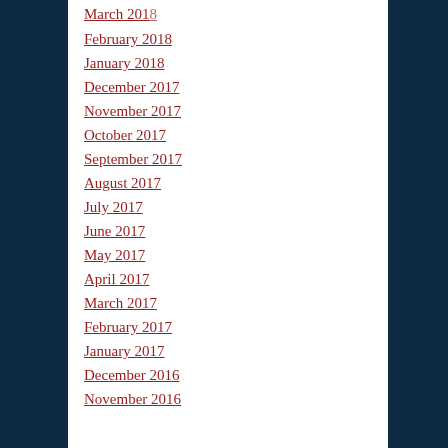March 2018 (truncated at top)
February 2018
January 2018
December 2017
November 2017
October 2017
September 2017
August 2017
July 2017
June 2017
May 2017
April 2017
March 2017
February 2017
January 2017
December 2016
November 2016